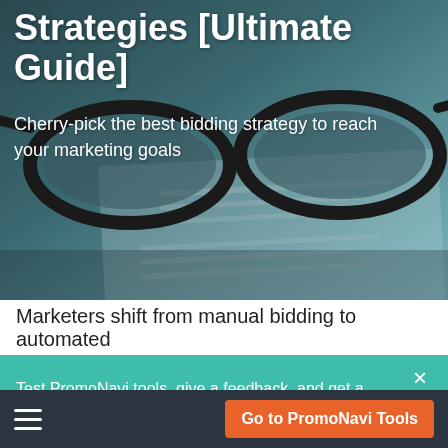[Figure (photo): Hero image with glasses resting on a blurred document/paper background, with dark teal/blue-green color overlay. Glasses are black-framed, positioned across the middle of the image.]
Strategies [Ultimate Guide]
Cherry-pick the best bidding strategy to reach your marketing goals
Marketers shift from manual bidding to automated
Test PromoNavi tools, give a feedback, and get a $100 reward!
Go to PromoNavi Tools